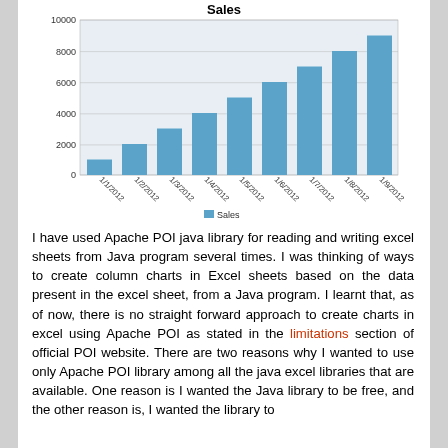[Figure (bar-chart): Sales]
I have used Apache POI java library for reading and writing excel sheets from Java program several times. I was thinking of ways to create column charts in Excel sheets based on the data present in the excel sheet, from a Java program. I learnt that, as of now, there is no straight forward approach to create charts in excel using Apache POI as stated in the limitations section of official POI website. There are two reasons why I wanted to use only Apache POI library among all the java excel libraries that are available. One reason is I wanted the Java library to be free, and the other reason is, I wanted the library to